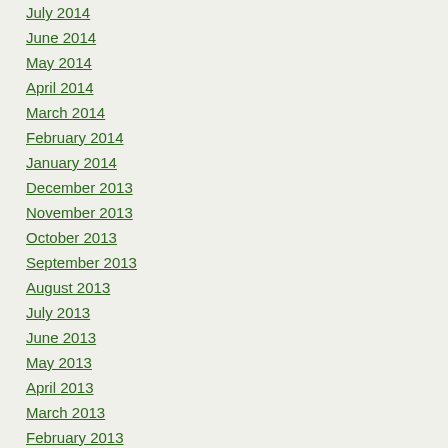July 2014
June 2014
May 2014
April 2014
March 2014
February 2014
January 2014
December 2013
November 2013
October 2013
September 2013
August 2013
July 2013
June 2013
May 2013
April 2013
March 2013
February 2013
January 2013